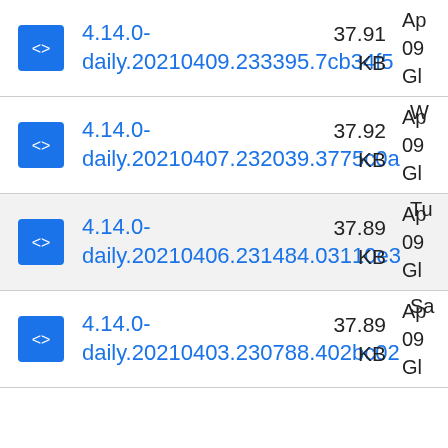4.14.0-daily.20210409.233395.7cb34f5 37.91 KB Ap 09 Gl
4.14.0-daily.20210407.232039.3775c0a 37.92 KB W Ap 09 Gl
4.14.0-daily.20210406.231484.03110e3 37.89 KB Tu Ap 09 Gl
4.14.0-daily.20210403.230788.402bc02 37.89 KB Sa Ap 09 Gl